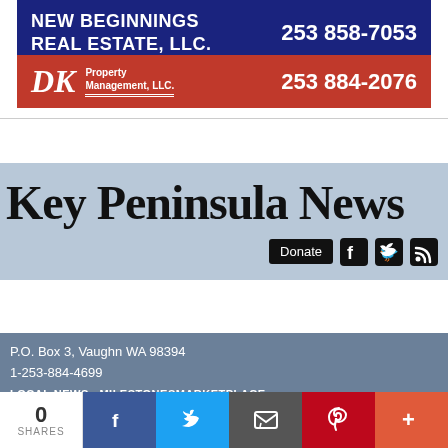[Figure (other): New Beginnings Real Estate LLC advertisement banner with blue background, text 'NEW BEGINNINGS REAL ESTATE, LLC.' and phone number '253 858-7053']
[Figure (other): DK Property Management LLC advertisement banner with red background, DK logo in italic serif, text 'Property Management, LLC.' and phone number '253 884-2076']
[Figure (logo): Key Peninsula News masthead on light blue background with 'Key Peninsula News' in large serif font, Donate button, and social media icons (Facebook, Twitter, RSS)]
P.O. Box 3, Vaughn WA 98394
1-253-884-4699
LOCAL NEWS   MILESTONESMARKETPLACE
0 SHARES